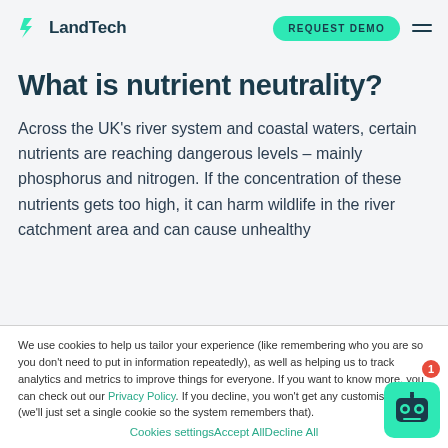LandTech | REQUEST DEMO
What is nutrient neutrality?
Across the UK’s river system and coastal waters, certain nutrients are reaching dangerous levels – mainly phosphorus and nitrogen. If the concentration of these nutrients gets too high, it can harm wildlife in the river catchment area and can cause unhealthy
We use cookies to help us tailor your experience (like remembering who you are so you don’t need to put in information repeatedly), as well as helping us to track analytics and metrics to improve things for everyone. If you want to know more, you can check out our Privacy Policy. If you decline, you won’t get any customisation (we’ll just set a single cookie so the system remembers that).
Cookies settingsAccept AllDecline All